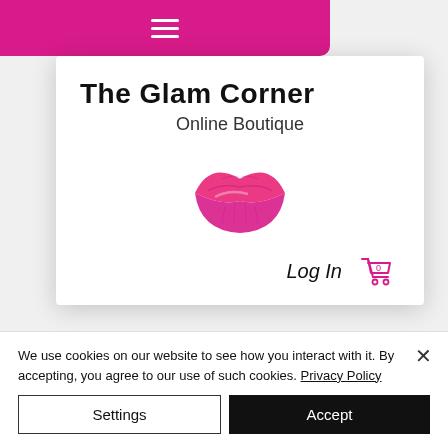[Figure (screenshot): Magenta navigation bar with hamburger menu icon at top left]
ycle,
pal
pal,
with
y
bulin
[Figure (logo): The Glam Corner Online Boutique logo with pink lips icon, Log In link, and shopping cart showing 0 items]
What is it?
We use cookies on our website to see how you interact with it. By accepting, you agree to our use of such cookies. Privacy Policy
Settings
Accept